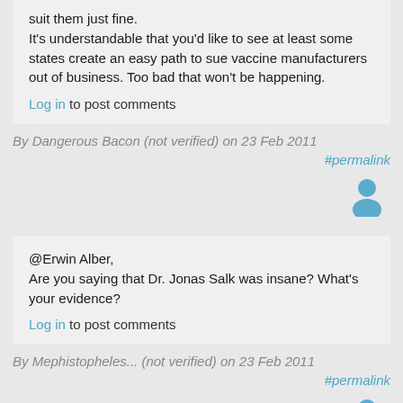suit them just fine.
It's understandable that you'd like to see at least some states create an easy path to sue vaccine manufacturers out of business. Too bad that won't be happening.
Log in to post comments
By Dangerous Bacon (not verified) on 23 Feb 2011
#permalink
[Figure (illustration): User avatar icon in teal/blue]
@Erwin Alber,
Are you saying that Dr. Jonas Salk was insane? What's your evidence?
Log in to post comments
By Mephistopheles... (not verified) on 23 Feb 2011
#permalink
[Figure (illustration): User avatar icon in teal/blue]